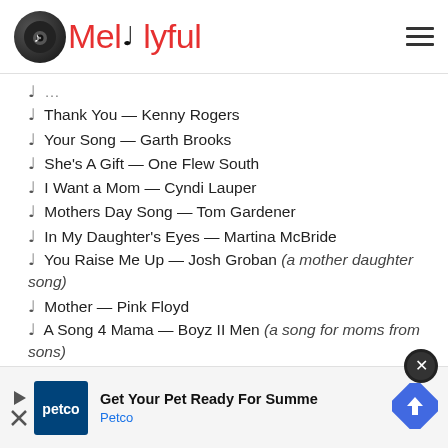Melodyful
♩ Thank You — Kenny Rogers
♩ Your Song — Garth Brooks
♩ She's A Gift — One Flew South
♩ I Want a Mom — Cyndi Lauper
♩ Mothers Day Song — Tom Gardener
♩ In My Daughter's Eyes — Martina McBride
♩ You Raise Me Up — Josh Groban (a mother daughter song)
♩ Mother — Pink Floyd
♩ A Song 4 Mama — Boyz II Men (a song for moms from sons)
♩ In This Life — Collin Raye
♩ Jesus and Mama — Confederate Railroad
♩ If S...
♩ Ma...
[Figure (other): Advertisement banner for Petco - Get Your Pet Ready For Summer]